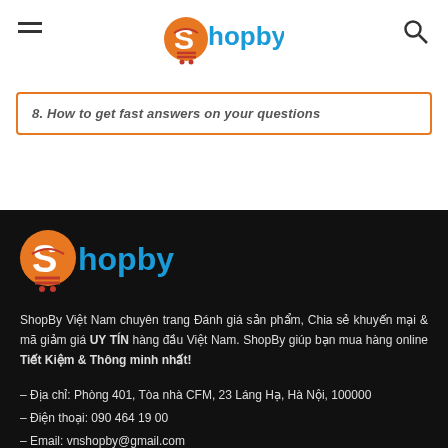Shopby
8. How to get fast answers on your questions
[Figure (logo): ShopBy logo on dark background - orange S letter with shopping cart icon and orange/red horizontal lines, blue 'hopby' text]
ShopBy Việt Nam chuyên trang Đánh giá sản phẩm, Chia sẻ khuyến mại & mã giảm giá UY TÍN hàng đầu Việt Nam. ShopBy giúp bạn mua hàng online Tiết Kiệm & Thông minh nhất!
– Địa chỉ: Phòng 401, Tòa nhà CFM, 23 Láng Hạ, Hà Nội, 100000
– Điện thoại: 090 464 19 00
– Email: vnshopby@gmail.com